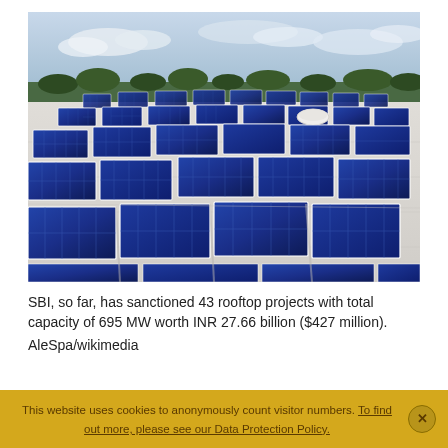[Figure (photo): Aerial/perspective view of a large rooftop solar panel installation. Rows of blue photovoltaic panels mounted on a white flat roof with white dome-shaped ventilation units visible. Sky and distant trees visible in the background.]
SBI, so far, has sanctioned 43 rooftop projects with total capacity of 695 MW worth INR 27.66 billion ($427 million). AleSpa/wikimedia
This website uses cookies to anonymously count visitor numbers. To find out more, please see our Data Protection Policy.